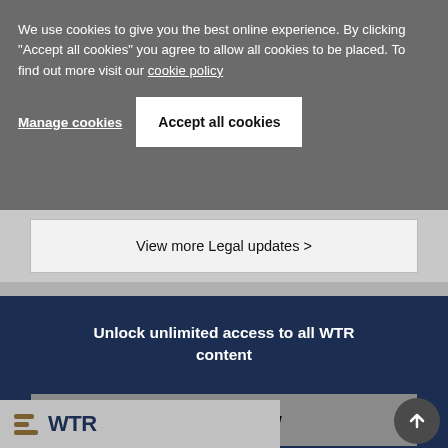We use cookies to give you the best online experience. By clicking "Accept all cookies" you agree to allow all cookies to be placed. To find out more visit our cookie policy
Manage cookies
Accept all cookies
View more Legal updates >
Unlock unlimited access to all WTR content
Subscribe Now
[Figure (logo): WTR logo with decorative horizontal lines in gold/brown color next to bold dark blue WTR text]
[Figure (other): Scroll-to-top circular button with upward arrow]